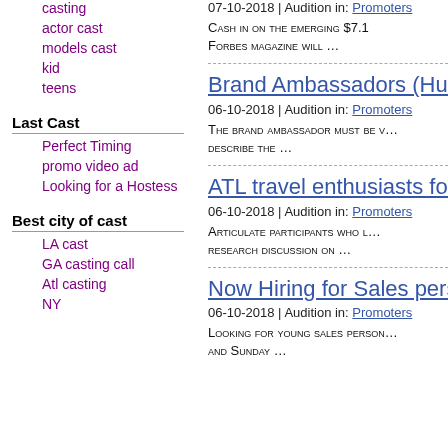casting
actor cast
models cast
kid
teens
Last Cast
Perfect Timing
promo video ad
Looking for a Hostess
Best city of cast
LA cast
GA casting call
Atl casting
NY
07-10-2018 | Audition in: Promoters
Cash in on the emerging $7.1 Forbes magazine will …
Brand Ambassadors (Hunt…
06-10-2018 | Audition in: Promoters
The brand ambassador must be w… describe the …
ATL travel enthusiasts for f…
06-10-2018 | Audition in: Promoters
Articulate participants who l… research discussion on …
Now Hiring for Sales perso…
06-10-2018 | Audition in: Promoters
Looking for young sales person… and Sunday …